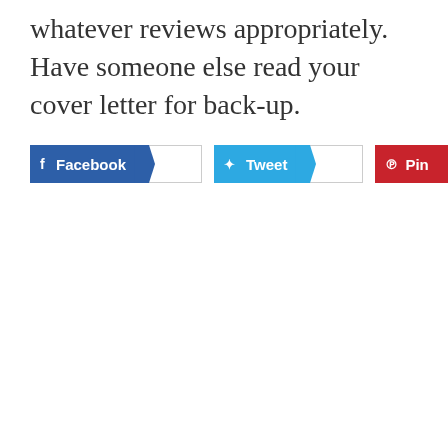whatever reviews appropriately. Have someone else read your cover letter for back-up.
[Figure (other): Social sharing buttons: Facebook, Tweet, and Pin buttons with count boxes]